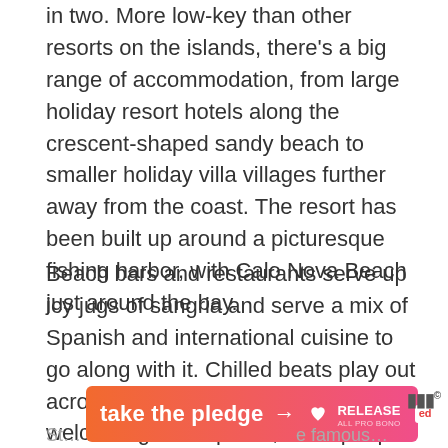in two. More low-key than other resorts on the islands, there's a big range of accommodation, from large holiday resort hotels along the crescent-shaped sandy beach to smaller holiday villa villages further away from the coast. The resort has been built up around a picturesque fishing harbor, with Calo Nova Beach just around the bay.
Beach bars and restaurants serve up icy jugs of sangria and serve a mix of Spanish and international cuisine to go along with it. Chilled beats play out across the sand to create a warm and welcoming atmosphere, while people try their hand at all sorts of watersports, from waterskiing to banana boats.
[Figure (other): Advertising banner with gradient orange-to-pink background reading 'take the pledge' with an arrow, Release logo with heart icon, and Ed logo box.]
St... famous...